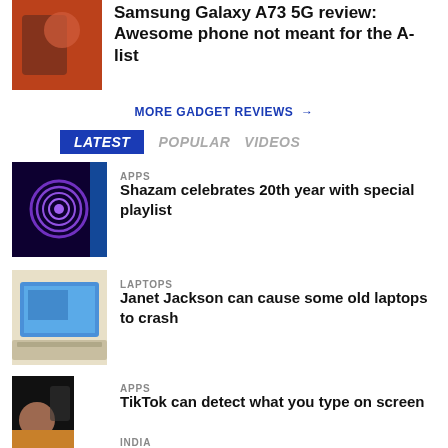Samsung Galaxy A73 5G review: Awesome phone not meant for the A-list
MORE GADGET REVIEWS →
LATEST  POPULAR  VIDEOS
[Figure (photo): Shazam app logo glowing purple on dark background]
APPS
Shazam celebrates 20th year with special playlist
[Figure (photo): Old laptop with blue screen desktop]
LAPTOPS
Janet Jackson can cause some old laptops to crash
[Figure (photo): TikTok app on smartphone with woman on screen]
APPS
TikTok can detect what you type on screen
[Figure (photo): India category thumbnail]
INDIA